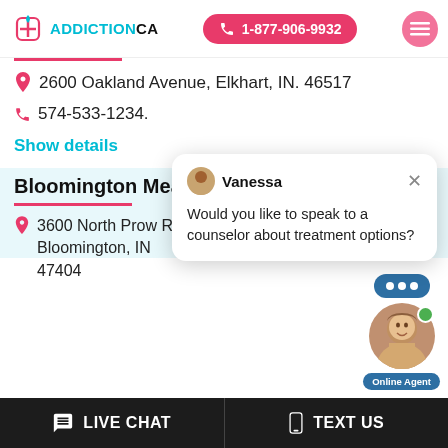[Figure (screenshot): Addiction.ca website header with logo, phone number button 1-877-906-9932, and hamburger menu icon]
2600 Oakland Avenue, Elkhart, IN. 46517
574-533-1234.
Show details
[Figure (screenshot): Chat popup with avatar of Vanessa and message: Would you like to speak to a counselor about treatment options?]
Bloomington Meadows GP
3600 North Prow Road, Bloomington, IN 47404
[Figure (screenshot): Online agent widget with chat bubble and agent photo, showing green online dot and Online Agent label]
LIVE CHAT   TEXT US